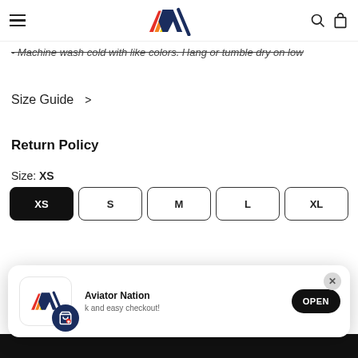Aviator Nation — navigation header with logo, hamburger menu, search and bag icons
- Machine wash cold with like colors. Hang or tumble dry on low
Size Guide >
Return Policy
Size: XS
Size buttons: XS (selected), S, M, L, XL
[Figure (screenshot): App install popup: Aviator Nation logo with shopping badge icon, 'Aviator Nation' title, 'k and easy checkout!' subtitle, OPEN button, X close button]